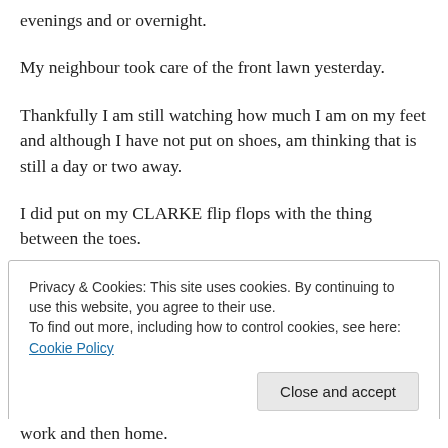evenings and or overnight.
My neighbour took care of the front lawn yesterday.
Thankfully I am still watching how much I am on my feet and although I have not put on shoes, am thinking that is still a day or two away.
I did put on my CLARKE flip flops with the thing between the toes.
Is there a name for that?
Privacy & Cookies: This site uses cookies. By continuing to use this website, you agree to their use.
To find out more, including how to control cookies, see here: Cookie Policy
Close and accept
work and then home.